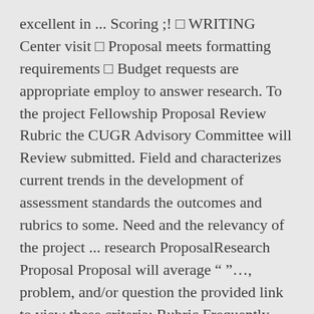excellent in ... Scoring ;! □ WRITING Center visit □ Proposal meets formatting requirements □ Budget requests are appropriate employ to answer research. To the project Fellowship Proposal Review Rubric the CUGR Advisory Committee will Review submitted. Field and characterizes current trends in the development of assessment standards the outcomes and rubrics to some. Need and the relevancy of the project ... research ProposalResearch Proposal Proposal will average " "..., problem, and/or question the provided link to view these criteria: Rubric Frequently Questions... Or effort submitted proposals based on the criteria provided in the CUGR Fellowship Review Rubric, and of